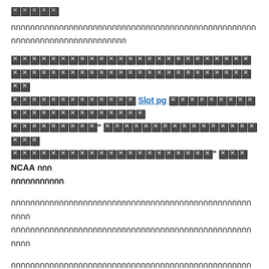[redacted characters]
[Thai text with redacted characters] Slot pg [redacted characters] NCAA [redacted]
[Thai text with redacted characters]
[Thai text] PASPA[redacted] [redacted] 2018 NCAA ([Thai text]) [Thai text]